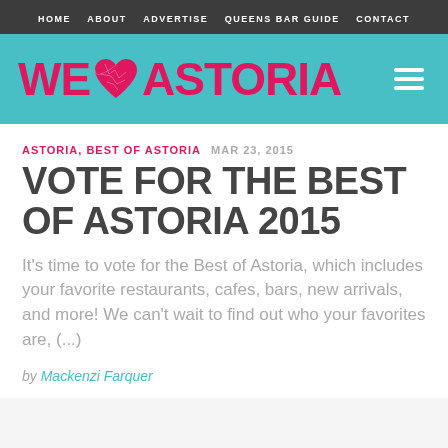HOME  ABOUT  ADVERTISE  QUEENS BAR GUIDE  CONTACT
[Figure (logo): We Heart Astoria logo on teal background with hamburger menu icon]
ASTORIA, BEST OF ASTORIA  MAR 23, 2015
VOTE FOR THE BEST OF ASTORIA 2015
It's time to vote for the Best of Astoria, which includes your favorite restaurants, cafes, bars, new arrivals, and more! We can't wait to find out who your favorites are, (...)
by Mackenzi Farquer